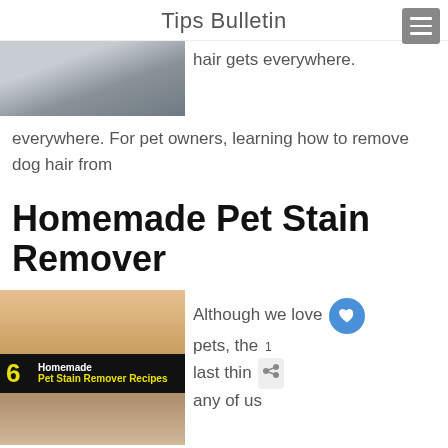Tips Bulletin
[Figure (photo): Partial image of a dog, top portion showing fur, cut off at top of page]
hair gets everywhere. For pet owners, learning how to remove dog hair from
Homemade Pet Stain Remover
[Figure (photo): Photo of an orange and white cat lying down, with a black banner overlay reading '6 Homemade Pet Stain Remover Recipes' in yellow and white text]
Although we love pets, the last thin any of us